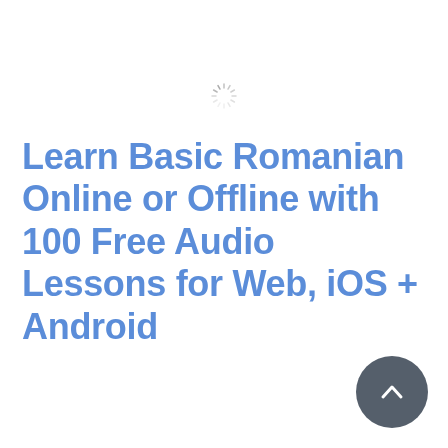[Figure (other): A loading spinner icon (starburst/radial lines spinner) centered near the top of the page]
Learn Basic Romanian Online or Offline with 100 Free Audio Lessons for Web, iOS + Android